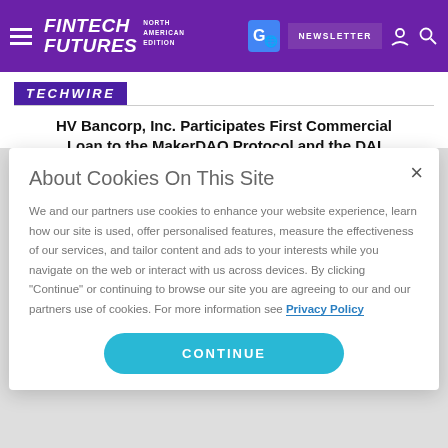FINTECH FUTURES NORTH AMERICAN EDITION — NEWSLETTER
TECHWIRE
HV Bancorp, Inc. Participates First Commercial Loan to the MakerDAO Protocol and the DAI Stable Coin
About Cookies On This Site

We and our partners use cookies to enhance your website experience, learn how our site is used, offer personalised features, measure the effectiveness of our services, and tailor content and ads to your interests while you navigate on the web or interact with us across devices. By clicking "Continue" or continuing to browse our site you are agreeing to our and our partners use of cookies. For more information see Privacy Policy

CONTINUE